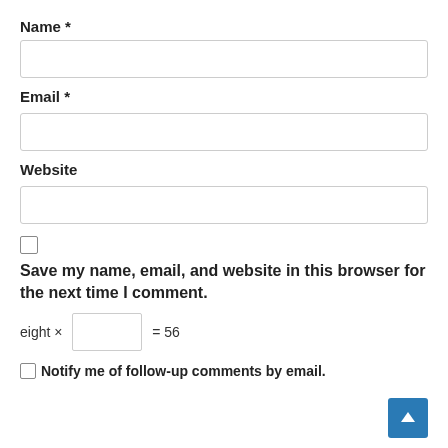Name *
[Figure (other): Text input field for Name]
Email *
[Figure (other): Text input field for Email]
Website
[Figure (other): Text input field for Website]
Save my name, email, and website in this browser for the next time I comment.
eight × = 56
Notify me of follow-up comments by email.